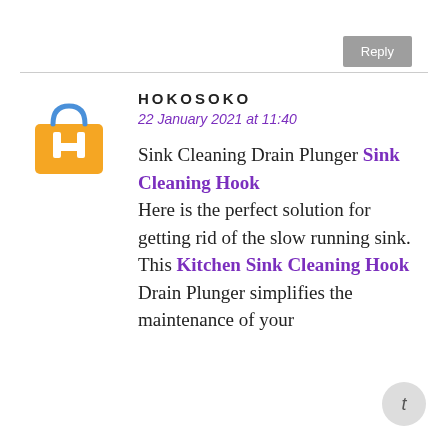Reply
[Figure (logo): Hokosoko shopping bag logo — orange bag with blue handle and white H icon, text 'HOKOSOKO' below in orange/blue]
HOKOSOKO
22 January 2021 at 11:40
Sink Cleaning Drain Plunger Sink Cleaning Hook
Here is the perfect solution for getting rid of the slow running sink. This Kitchen Sink Cleaning Hook Drain Plunger simplifies the maintenance of your